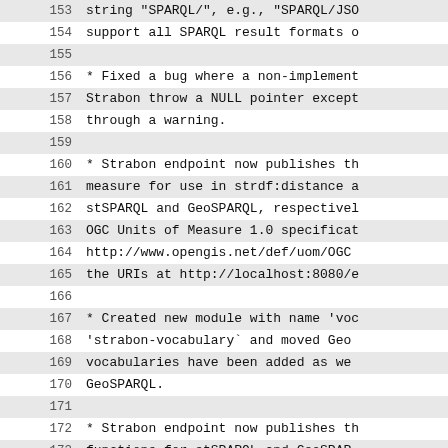153  string "SPARQL/", e.g., "SPARQL/JSO
154  support all SPARQL result formats o
155
156  * Fixed a bug where a non-implement
157  Strabon throw a NULL pointer except
158  through a warning.
159
160  * Strabon endpoint now publishes th
161  measure for use in strdf:distance a
162  stSPARQL and GeoSPARQL, respectivel
163  OGC Units of Measure 1.0 specificat
164  http://www.opengis.net/def/uom/OGC
165  the URIs at http://localhost:8080/e
166
167  * Created new module with name 'voc
168  'strabon-vocabulary` and moved Geo
169  vocabularies have been added as we
170  GeoSPARQL.
171
172  * Strabon endpoint now publishes th
173  functions for stSPARQL and GeoSPAR
174  hitting the link http://localhost:8
175
176  * Support for parsing EPSG URIs in
177  geo:wktLiteral.
178  (bug #33: http://bug.strabon.di.uoa
179
180  * Endpoint Client now supports quel